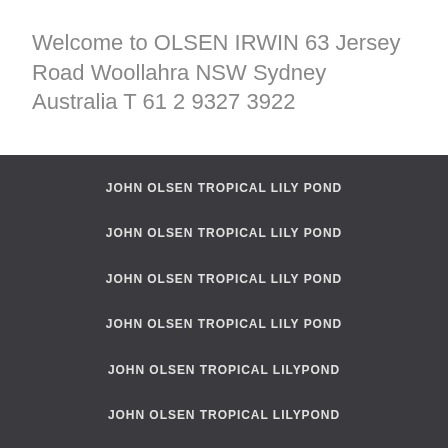Welcome to OLSEN IRWIN 63 Jersey Road Woollahra NSW Sydney Australia T 61 2 9327 3922
JOHN OLSEN TROPICAL LILY POND
JOHN OLSEN TROPICAL LILY POND
JOHN OLSEN TROPICAL LILY POND
JOHN OLSEN TROPICAL LILY POND
JOHN OLSEN TROPICAL LILYPOND
JOHN OLSEN TROPICAL LILYPOND